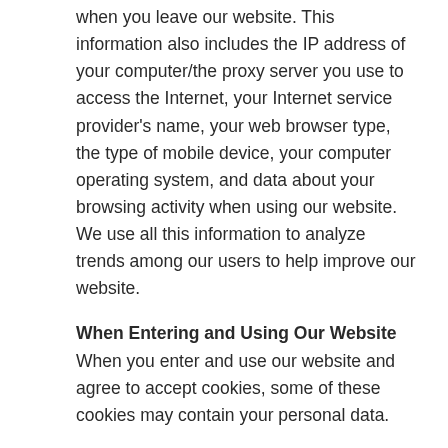when you leave our website. This information also includes the IP address of your computer/the proxy server you use to access the Internet, your Internet service provider's name, your web browser type, the type of mobile device, your computer operating system, and data about your browsing activity when using our website. We use all this information to analyze trends among our users to help improve our website.
When Entering and Using Our Website
When you enter and use our website and agree to accept cookies, some of these cookies may contain your personal data.
At User and Member Registration or When Buying Products or Services